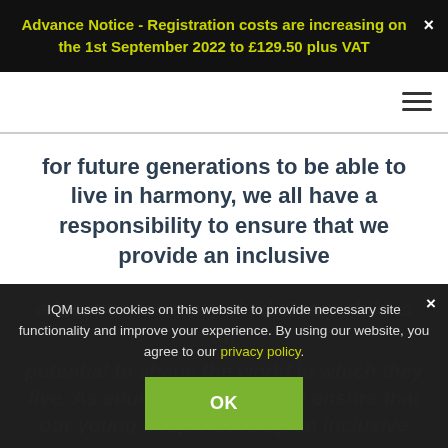Advance Notice - Registration costs are increasing on the 1st September 2022 to £129.50 plus VAT
for future generations to be able to live in harmony, we all have a responsibility to ensure that we provide an inclusive
IQM uses cookies on this website to provide necessary site functionality and improve your experience. By using our website, you agree to our privacy policy.
education for every child. Every child is an
potential to shape the world in which they live. As educators we have to ensure that our young people develop an inclusive